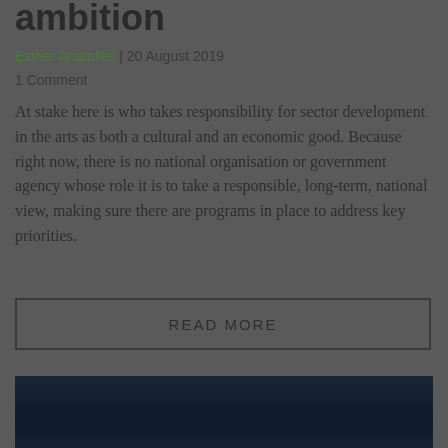ambition
Esther Anatolitis | 20 August 2019
1 Comment
At stake here is who takes responsibility for sector development in the arts as both a cultural and an economic good. Because right now, there is no national organisation or government agency whose role it is to take a responsible, long-term, national view, making sure there are programs in place to address key priorities.
READ MORE
[Figure (photo): Dark photograph, largely dark blue and black tones, partially visible at bottom of page]